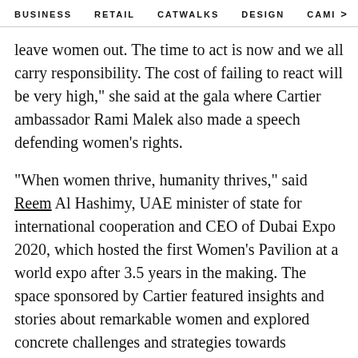BUSINESS   RETAIL   CATWALKS   DESIGN   CAMI >
leave women out. The time to act is now and we all carry responsibility. The cost of failing to react will be very high," she said at the gala where Cartier ambassador Rami Malek also made a speech defending women's rights.
"When women thrive, humanity thrives," said Reem Al Hashimy, UAE minister of state for international cooperation and CEO of Dubai Expo 2020, which hosted the first Women's Pavilion at a world expo after 3.5 years in the making. The space sponsored by Cartier featured insights and stories about remarkable women and explored concrete challenges and strategies towards achieving gender equality. An immersive art space was